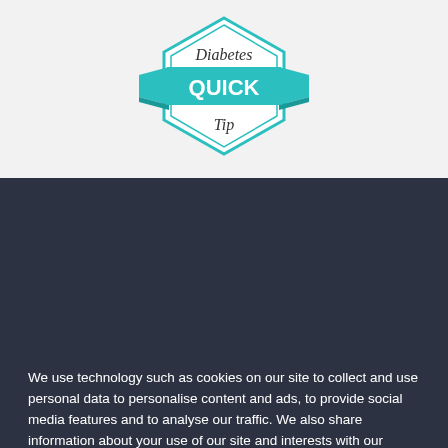[Figure (logo): Diabetes Quick Tip badge logo — a teal hexagon with a teal ribbon/banner across the center, text reading 'Diabetes QUICK Tip']
We use technology such as cookies on our site to collect and use personal data to personalise content and ads, to provide social media features and to analyse our traffic. We also share information about your use of our site and interests with our partners who also use technologies such as cookies to collect and use personal data to personalise content and ads, to provide social media features and to analyse our traffic on our site and across the internet. You can always change your mind and revisit your choices.